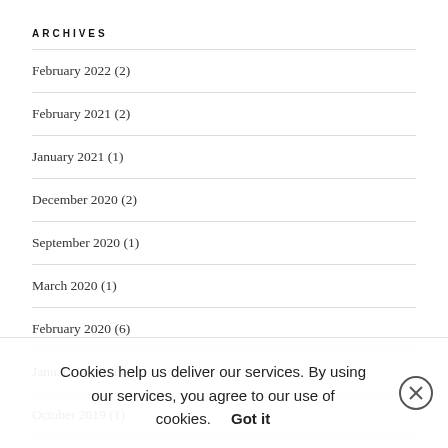ARCHIVES
February 2022 (2)
February 2021 (2)
January 2021 (1)
December 2020 (2)
September 2020 (1)
March 2020 (1)
February 2020 (6)
January 2020 (1)
October 2019 (1)
June 2019 (4)
May 2019 (2)
Cookies help us deliver our services. By using our services, you agree to our use of cookies.    Got it